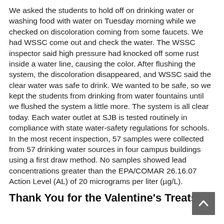We asked the students to hold off on drinking water or washing food with water on Tuesday morning while we checked on discoloration coming from some faucets. We had WSSC come out and check the water. The WSSC inspector said high pressure had knocked off some rust inside a water line, causing the color. After flushing the system, the discoloration disappeared, and WSSC said the clear water was safe to drink. We wanted to be safe, so we kept the students from drinking from water fountains until we flushed the system a little more. The system is all clear today. Each water outlet at SJB is tested routinely in compliance with state water-safety regulations for schools.
In the most recent inspection, 57 samples were collected from 57 drinking water sources in four campus buildings using a first draw method. No samples showed lead concentrations greater than the EPA/COMAR 26.16.07 Action Level (AL) of 20 micrograms per liter (μg/L).
Thank You for the Valentine's Treats,